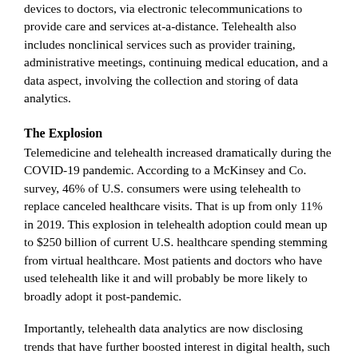devices to doctors, via electronic telecommunications to provide care and services at-a-distance. Telehealth also includes nonclinical services such as provider training, administrative meetings, continuing medical education, and a data aspect, involving the collection and storing of data analytics.
The Explosion
Telemedicine and telehealth increased dramatically during the COVID-19 pandemic. According to a McKinsey and Co. survey, 46% of U.S. consumers were using telehealth to replace canceled healthcare visits. That is up from only 11% in 2019. This explosion in telehealth adoption could mean up to $250 billion of current U.S. healthcare spending stemming from virtual healthcare. Most patients and doctors who have used telehealth like it and will probably be more likely to broadly adopt it post-pandemic.
Importantly, telehealth data analytics are now disclosing trends that have further boosted interest in digital health, such as demographic disparities, population growth, inefficient health care systems, expanding mental health